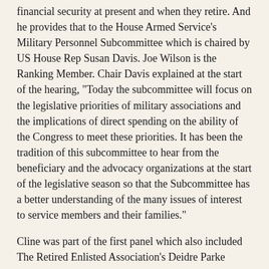financial security at present and when they retire. And he provides that to the House Armed Service's Military Personnel Subcommittee which is chaired by US House Rep Susan Davis. Joe Wilson is the Ranking Member. Chair Davis explained at the start of the hearing, "Today the subcommittee will focus on the legislative priorities of military associations and the implications of direct spending on the ability of the Congress to meet these priorities. It has been the tradition of this subcommittee to hear from the beneficiary and the advocacy organizations at the start of the legislative season so that the Subcommittee has a better understanding of the many issues of interest to service members and their families."
Cline was part of the first panel which also included The Retired Enlisted Association's Deidre Parke Holleman, Retired Col Steve Strobridge, CBO's Sarah Jennings and Retired Master Chief Petty Officer Joseph Barnes.
Since, as Davis noted, the point was to hear about the issues, we'll again go to Cline who was speaking of the disparities in pay.
Retired Master Sgt Michael Cline: Well I think it would go a long